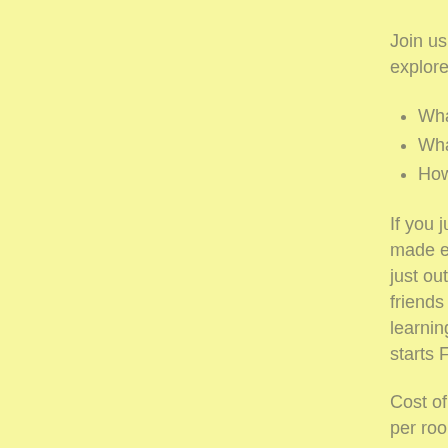Join us for Pr explore and a
What does
What do I
How can I
If you just co made especi just outside o friends and c learning how starts Friday
Cost of the ca per room and comes to car
Invite a friend this fun-fille